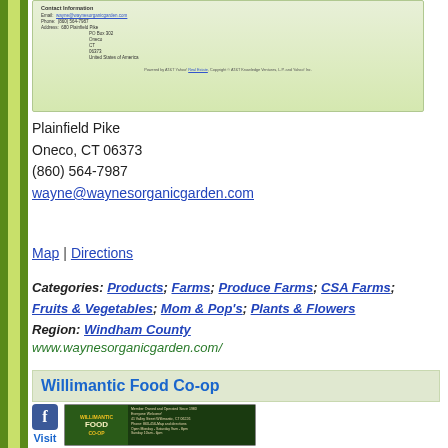[Figure (screenshot): Screenshot of Wayne's Organic Garden website contact information section showing email, phone, and address details]
Plainfield Pike
Oneco, CT 06373
(860) 564-7987
wayne@waynesorganicgarden.com
Map | Directions
Categories: Products; Farms; Produce Farms; CSA Farms; Fruits & Vegetables; Mom & Pop's; Plants & Flowers
Region: Windham County
www.waynesorganicgarden.com/
Willimantic Food Co-op
[Figure (screenshot): Willimantic Food Co-op website screenshot showing logo and member owned and operated since 1980 information]
Visit